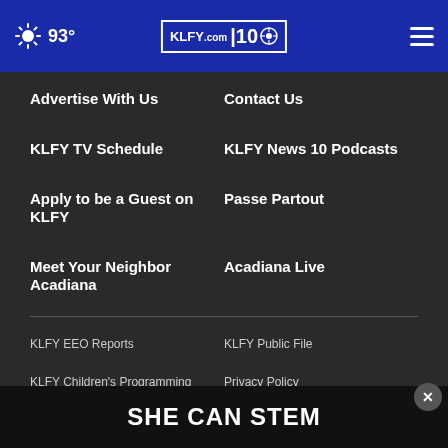93° KLFY.com 10
Advertise With Us
Contact Us
KLFY TV Schedule
KLFY News 10 Podcasts
Apply to be a Guest on KLFY
Passe Partout
Meet Your Neighbor Acadiana
Acadiana Live
KLFY EEO Reports
KLFY Public File
KLFY Children's Programming
Privacy Policy
Terms of Use
Do Not Sell My Personal...
[Figure (infographic): SHE CAN STEM advertisement banner at bottom of page]